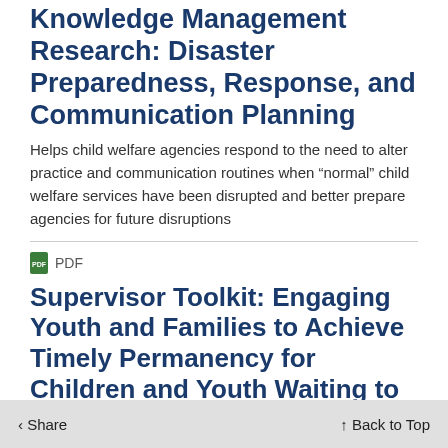Knowledge Management Research: Disaster Preparedness, Response, and Communication Planning
Helps child welfare agencies respond to the need to alter practice and communication routines when “normal” child welfare services have been disrupted and better prepare agencies for future disruptions
PDF
Supervisor Toolkit: Engaging Youth and Families to Achieve Timely Permanency for Children and Youth Waiting to Be Adopted
key components of en... and families in individual permanency planning...
Share   Back to Top